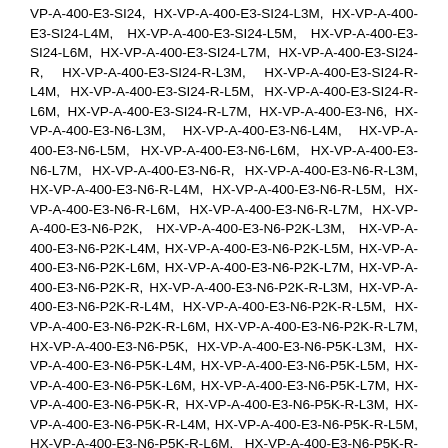VP-A-400-E3-SI24, HX-VP-A-400-E3-SI24-L3M, HX-VP-A-400-E3-SI24-L4M, HX-VP-A-400-E3-SI24-L5M, HX-VP-A-400-E3-SI24-L6M, HX-VP-A-400-E3-SI24-L7M, HX-VP-A-400-E3-SI24-R, HX-VP-A-400-E3-SI24-R-L3M, HX-VP-A-400-E3-SI24-R-L4M, HX-VP-A-400-E3-SI24-R-L5M, HX-VP-A-400-E3-SI24-R-L6M, HX-VP-A-400-E3-SI24-R-L7M, HX-VP-A-400-E3-N6, HX-VP-A-400-E3-N6-L3M, HX-VP-A-400-E3-N6-L4M, HX-VP-A-400-E3-N6-L5M, HX-VP-A-400-E3-N6-L6M, HX-VP-A-400-E3-N6-L7M, HX-VP-A-400-E3-N6-R, HX-VP-A-400-E3-N6-R-L3M, HX-VP-A-400-E3-N6-R-L4M, HX-VP-A-400-E3-N6-R-L5M, HX-VP-A-400-E3-N6-R-L6M, HX-VP-A-400-E3-N6-R-L7M, HX-VP-A-400-E3-N6-P2K, HX-VP-A-400-E3-N6-P2K-L3M, HX-VP-A-400-E3-N6-P2K-L4M, HX-VP-A-400-E3-N6-P2K-L5M, HX-VP-A-400-E3-N6-P2K-L6M, HX-VP-A-400-E3-N6-P2K-L7M, HX-VP-A-400-E3-N6-P2K-R, HX-VP-A-400-E3-N6-P2K-R-L3M, HX-VP-A-400-E3-N6-P2K-R-L4M, HX-VP-A-400-E3-N6-P2K-R-L5M, HX-VP-A-400-E3-N6-P2K-R-L6M, HX-VP-A-400-E3-N6-P2K-R-L7M, HX-VP-A-400-E3-N6-P5K, HX-VP-A-400-E3-N6-P5K-L3M, HX-VP-A-400-E3-N6-P5K-L4M, HX-VP-A-400-E3-N6-P5K-L5M, HX-VP-A-400-E3-N6-P5K-L6M, HX-VP-A-400-E3-N6-P5K-L7M, HX-VP-A-400-E3-N6-P5K-R, HX-VP-A-400-E3-N6-P5K-R-L3M, HX-VP-A-400-E3-N6-P5K-R-L4M, HX-VP-A-400-E3-N6-P5K-R-L5M, HX-VP-A-400-E3-N6-P5K-R-L6M, HX-VP-A-400-E3-N6-P5K-R-L7M, HX-VP-A-400-E3-N6-P10K, HX-VP-A-400-E3-N6-